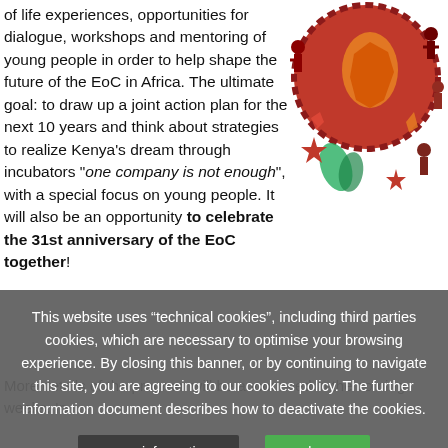of life experiences, opportunities for dialogue, workshops and mentoring of young people in order to help shape the future of the EoC in Africa. The ultimate goal: to draw up a joint action plan for the next 10 years and think about strategies to realize Kenya's dream through incubators "one company is not enough", with a special focus on young people. It will also be an opportunity to celebrate the 31st anniversary of the EoC together!
[Figure (illustration): Colorful circular illustration of Africa globe with people in traditional attire around it, red and orange tones]
More details of the program will be announced in the coming weeks. In
TAGS: Panafri...
This website uses “technical cookies”, including third parties cookies, which are necessary to optimise your browsing experience. By closing this banner, or by continuing to navigate this site, you are agreeing to our cookies policy. The further information document describes how to deactivate the cookies.